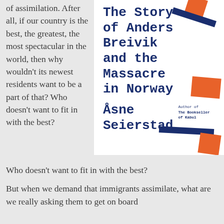of assimilation. After all, if our country is the best, the greatest, the most spectacular in the world, then why wouldn't its newest residents want to be a part of that? Who doesn't want to fit in with the best?
[Figure (illustration): Book cover of 'One of Us: The Story of Anders Breivik and the Massacre in Norway' by Åsne Seierstad. White background with dark navy blue bold monospace title text. Decorative orange rectangles and dark navy blue diagonal bars/rectangles scattered around the cover. Author byline reads 'Author of The Bookseller of Kabul'.]
But when we demand that immigrants assimilate, what are we really asking them to get on board